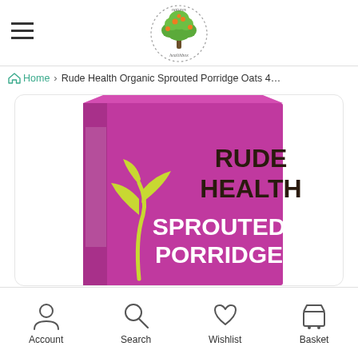[Figure (logo): Natures Healthbox logo - a tree with colorful fruits/leaves in green and orange, circular badge with dotted border]
Home › Rude Health Organic Sprouted Porridge Oats 4…
[Figure (photo): Rude Health Sprouted Porridge Oats product box - purple/magenta box with yellow-green sprouting plant illustration, text reads RUDE HEALTH SPROUTED PORRIDGE in white and dark brown]
Account
Search
Wishlist
Basket